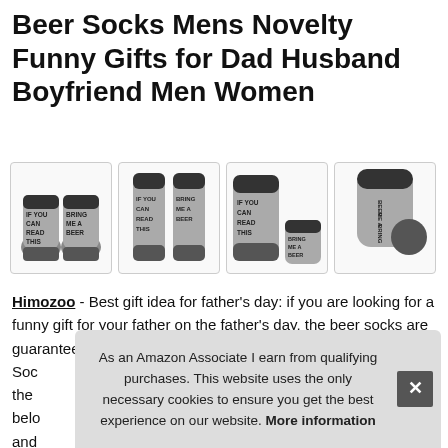Beer Socks Mens Novelty Funny Gifts for Dad Husband Boyfriend Men Women
[Figure (photo): Four product photos of novelty beer socks showing soles with text 'IF YOU CAN READ THIS BRING ME A BEER' in different angles]
Himozoo - Best gift idea for father's day: if you are looking for a funny gift for your father on the father's day, the beer socks are guaranteed a great gifts to make him laugh. Perfect for any Soc the belo and
As an Amazon Associate I earn from qualifying purchases. This website uses the only necessary cookies to ensure you get the best experience on our website. More information